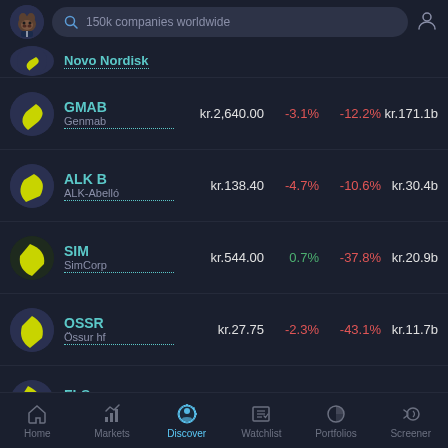150k companies worldwide
Novo Nordisk (partial row)
GMAB | Genmab | kr.2,640.00 | -3.1% | -12.2% | kr.171.1b
ALK B | ALK-Abelló | kr.138.40 | -4.7% | -10.6% | kr.30.4b
SIM | SimCorp | kr.544.00 | 0.7% | -37.8% | kr.20.9b
OSSR | Össur hf | kr.27.75 | -2.3% | -43.1% | kr.11.7b
FLS | FLSmidth | kr.205.80 | -2.2% | -10.9% | kr.11.7b
Home | Markets | Discover | Watchlist | Portfolios | Screener